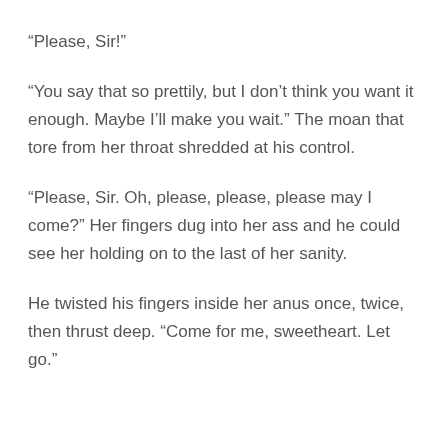“Please, Sir!”
“You say that so prettily, but I don’t think you want it enough. Maybe I’ll make you wait.” The moan that tore from her throat shredded at his control.
“Please, Sir. Oh, please, please, please may I come?” Her fingers dug into her ass and he could see her holding on to the last of her sanity.
He twisted his fingers inside her anus once, twice, then thrust deep. “Come for me, sweetheart. Let go.”